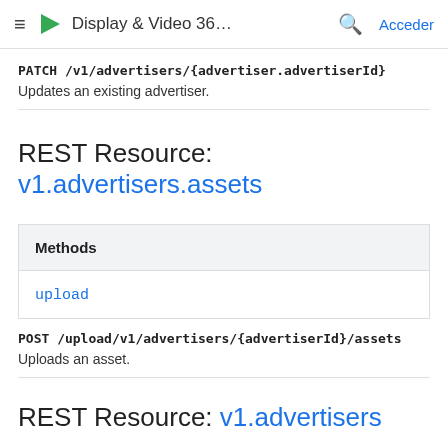Display & Video 36...  Acceder
PATCH /v1/advertisers/{advertiser.advertiserId}
Updates an existing advertiser.
REST Resource: v1.advertisers.assets
| Methods |
| --- |
| upload |
POST /upload/v1/advertisers/{advertiserId}/assets
Uploads an asset.
REST Resource: v1.advertisers...